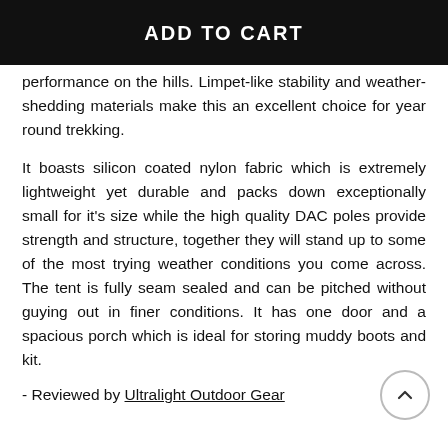[Figure (other): Black 'ADD TO CART' button]
performance on the hills. Limpet-like stability and weather-shedding materials make this an excellent choice for year round trekking.
It boasts silicon coated nylon fabric which is extremely lightweight yet durable and packs down exceptionally small for it's size while the high quality DAC poles provide strength and structure, together they will stand up to some of the most trying weather conditions you come across. The tent is fully seam sealed and can be pitched without guying out in finer conditions. It has one door and a spacious porch which is ideal for storing muddy boots and kit.
- Reviewed by Ultralight Outdoor Gear